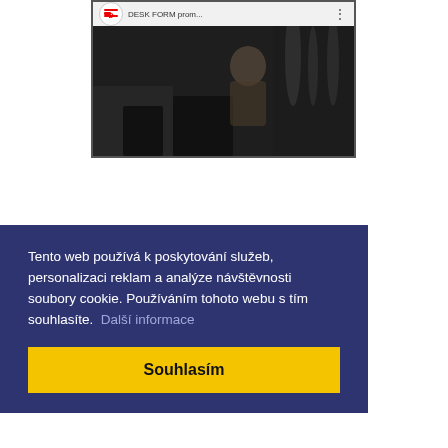[Figure (screenshot): YouTube video thumbnail for 'DESK FORM prom...' showing a dark workshop/studio scene with a YouTube play button (red rounded rectangle with white triangle) in the center, and a channel logo at top left.]
Tento web používá k poskytování služeb, personalizaci reklam a analýze návštěvnosti soubory cookie. Používáním tohoto webu s tím souhlasíte.  Další informace
Souhlasím